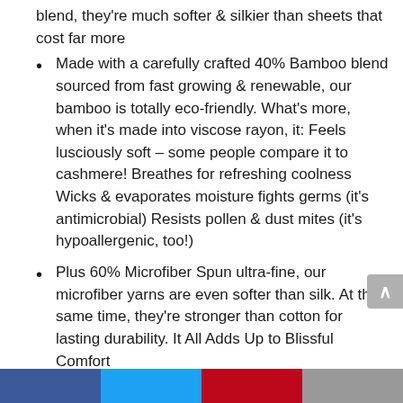blend, they're much softer & silkier than sheets that cost far more
Made with a carefully crafted 40% Bamboo blend sourced from fast growing & renewable, our bamboo is totally eco-friendly. What's more, when it's made into viscose rayon, it: Feels lusciously soft – some people compare it to cashmere! Breathes for refreshing coolness Wicks & evaporates moisture fights germs (it's antimicrobial) Resists pollen & dust mites (it's hypoallergenic, too!)
Plus 60% Microfiber Spun ultra-fine, our microfiber yarns are even softer than silk. At the same time, they're stronger than cotton for lasting durability. It All Adds Up to Blissful Comfort
Easy care – just toss in the wash Resistance to stains, wrinkles & pilling Fine single-needle tailoring for an elegant, high-end look All at an affordable price...